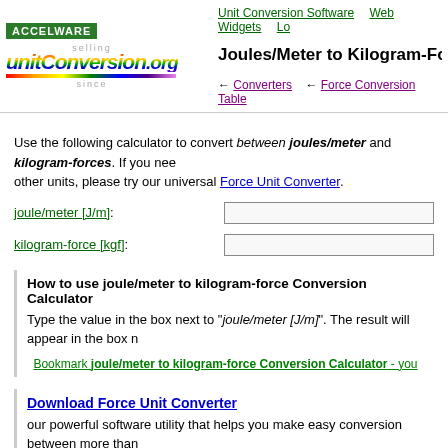Unit Conversion Software | Web Widgets | Lo...
Joules/Meter to Kilogram-Forces C...
← Converters  ← Force Conversion Table
Use the following calculator to convert between joules/meter and kilogram-forces. If you need to convert other units, please try our universal Force Unit Converter.
joule/meter [J/m]:
kilogram-force [kgf]:
How to use joule/meter to kilogram-force Conversion Calculator
Type the value in the box next to "joule/meter [J/m]". The result will appear in the box n...
Bookmark joule/meter to kilogram-force Conversion Calculator - you...
Download Force Unit Converter
our powerful software utility that helps you make easy conversion between more than 2,100 various units of measure in more than 70 categories. Discover a universal assistan... for all of your unit conversion needs - download the free demo version right away!